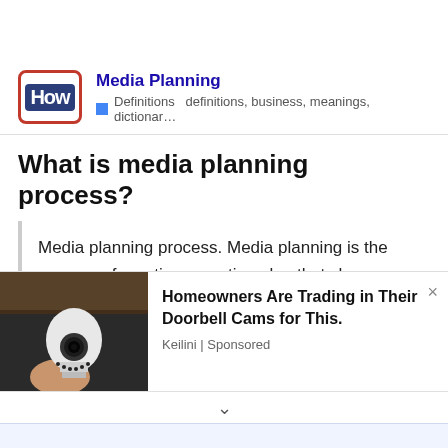[Figure (logo): HowTo logo — red-bordered box with dark blue 'How' text badge]
Media Planning
Definitions  definitions, business, meanings, dictionar…
What is media planning process?
Media planning process. Media planning is the process of creating an action plan that shows how time and advertising space will be used to achieve marketing and advertising goals.
[Figure (photo): Hand holding a white light-bulb shaped security camera against a wooden ceiling background]
Homeowners Are Trading in Their Doorbell Cams for This.
Keilini | Sponsored